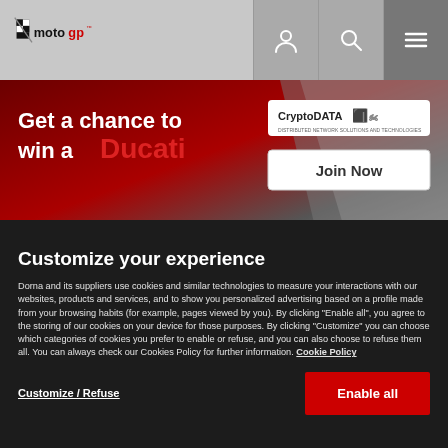[Figure (logo): MotoGP logo in header bar with user, search, and menu icons on the right]
[Figure (illustration): CryptoDATA x MotoGP banner: 'Get a chance to win a Ducati' with Join Now button on a red/grey gradient background]
Customize your experience
Dorna and its suppliers use cookies and similar technologies to measure your interactions with our websites, products and services, and to show you personalized advertising based on a profile made from your browsing habits (for example, pages viewed by you). By clicking “Enable all”, you agree to the storing of our cookies on your device for those purposes. By clicking “Customize” you can choose which categories of cookies you prefer to enable or refuse, and you can also choose to refuse them all. You can always check our Cookies Policy for further information. Cookie Policy
Customize / Refuse
Enable all